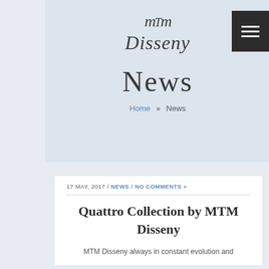[Figure (logo): MTM Disseny cursive/italic logo in dark grey script font]
News
Home » News
17 MAY, 2017 / NEWS / NO COMMENTS »
Quattro Collection by MTM Disseny
MTM Disseny always in constant evolution and